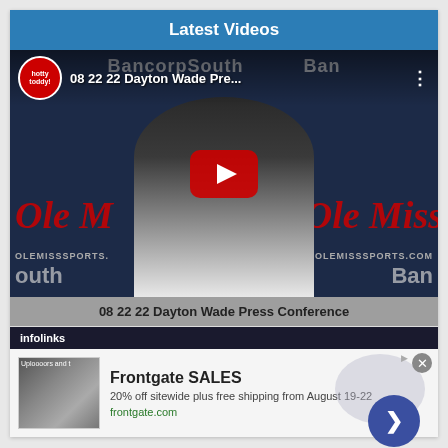Latest Videos
[Figure (screenshot): YouTube video thumbnail showing Ole Miss press conference with player at microphone. Video titled '08 22 22 Dayton Wade Pre...' with Hotty Toddy logo, YouTube play button overlay, BancorpSouth backdrop.]
08 22 22 Dayton Wade Press Conference
[Figure (infographic): Infolinks advertisement bar with logo, and Frontgate SALES ad showing outdoor furniture image. Text: 'Frontgate SALES', '20% off sitewide plus free shipping from August 19-22', 'frontgate.com']